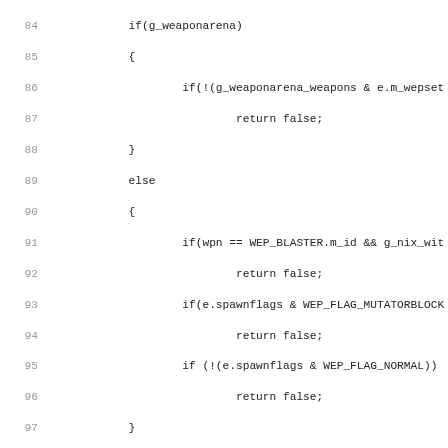Source code listing, lines 84-115, showing game weapon selection logic in a C-like language including NIX_ChooseNextWeapon and NIX_GiveCurrentWeapon functions.